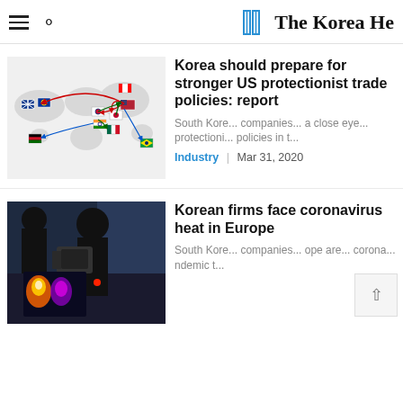The Korea Herald
[Figure (map): World map infographic showing trade relationships with country flag icons connected by colored arrows (red, green, blue) representing trade flows between countries including UK, EU, South Korea, Japan, India, US, Canada, Mexico, Kenya, Brazil]
Korea should prepare for stronger US protectionist trade policies: report
South Korean companies should keep a close eye on US protectionist policies in t...
Industry | Mar 31, 2020
[Figure (photo): Photo of person using thermal imaging camera equipment in what appears to be an airport or public space, showing heat signatures on screen]
Korean firms face coronavirus heat in Europe
South Korean companies in Europe are facing coronavirus pandemic t...